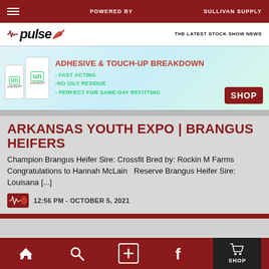POWERED BY  |  SULLIVAN SUPPLY
[Figure (logo): Pulse stock show news logo with heartbeat line and chili pepper icon, tagline: THE LATEST STOCK SHOW NEWS]
[Figure (infographic): Advertisement for Undrepp adhesive and touch-up product: ADHESIVE & TOUCH-UP BREAKDOWN – FAST ACTING, – NO OILY RESIDUE, – PERFECT FOR SAME-DAY REFITTING. SHOP button shown.]
ARKANSAS YOUTH EXPO | BRANGUS HEIFERS
Champion Brangus Heifer Sire: Crossfit Bred by: Rockin M Farms Congratulations to Hannah McLain   Reserve Brangus Heifer Sire: Louisana [...]
12:56 PM - OCTOBER 5, 2021
2021 SADDLE & SIRLOIN (COLLEGE STATION
Home | Search | + | Facebook | SHOP